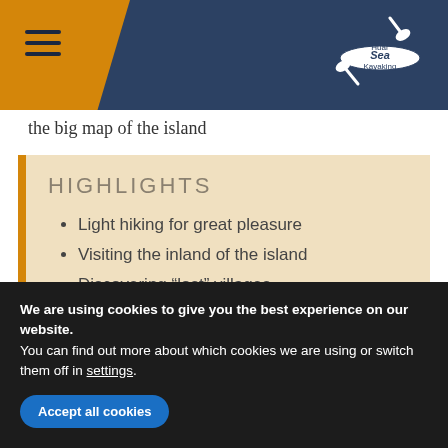Huar Sea Kayaking — navigation header with hamburger menu and logo
the big map of the island
HIGHLIGHTS
Light hiking for great pleasure
Visiting the inland of the island
Discovering “lost” villages
Learning about old ways of life
Experienced guide
We are using cookies to give you the best experience on our website.
You can find out more about which cookies we are using or switch them off in settings.
Accept all cookies